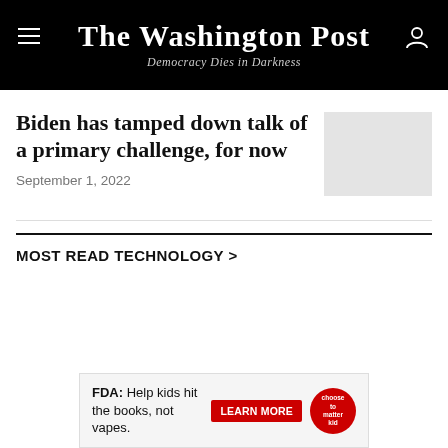The Washington Post — Democracy Dies in Darkness
Biden has tamped down talk of a primary challenge, for now
September 1, 2022
MOST READ TECHNOLOGY >
[Figure (other): Advertisement — FDA: Help kids hit the books, not vapes. LEARN MORE button with circular logo.]